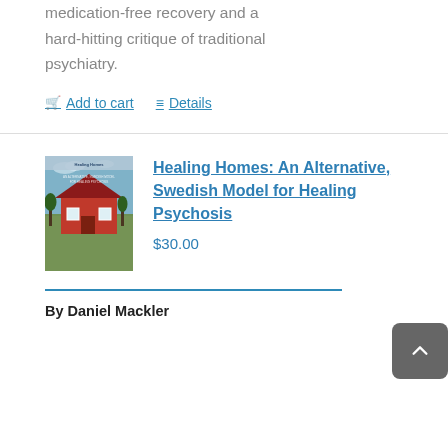medication-free recovery and a hard-hitting critique of traditional psychiatry.
Add to cart   Details
[Figure (illustration): Book cover of 'Healing Homes: An Alternative, Swedish Model for Healing Psychosis' showing a red Swedish house with trees and sky]
Healing Homes: An Alternative, Swedish Model for Healing Psychosis
$30.00
By Daniel Mackler